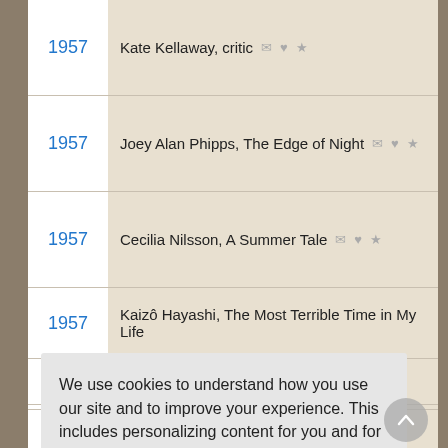1957 — Kate Kellaway, critic
1957 — Joey Alan Phipps, The Edge of Night
1957 — Cecilia Nilsson, A Summer Tale
1957 — Kaizô Hayashi, The Most Terrible Time in My Life
We use cookies to understand how you use our site and to improve your experience. This includes personalizing content for you and for the display and tracking of advertising. By continuing to use our site, you accept and agree to our use of cookies. Privacy Policy
1958 — Buick Open)